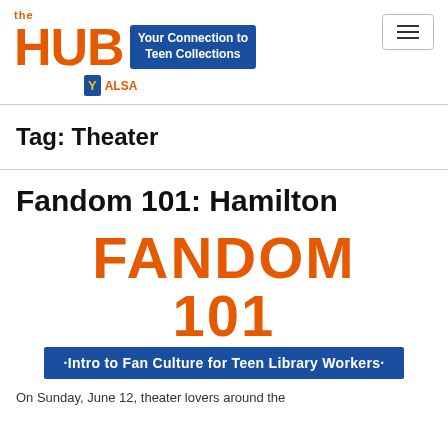the HUB — Your Connection to Teen Collections — YALSA
Tag: Theater
Fandom 101: Hamilton
[Figure (logo): Fandom 101 logo with orange distressed text reading 'FANDOM 101' and a blue banner below reading 'Intro to Fan Culture for Teen Library Workers']
On Sunday, June 12, theater lovers around the